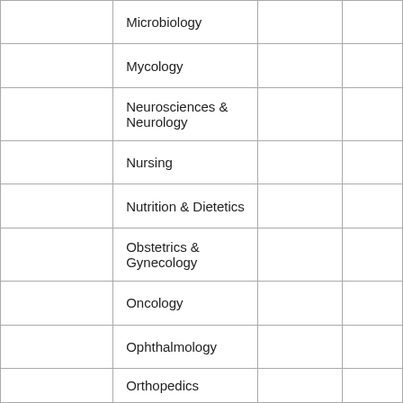|  | Microbiology |  |  |
|  | Mycology |  |  |
|  | Neurosciences & Neurology |  |  |
|  | Nursing |  |  |
|  | Nutrition & Dietetics |  |  |
|  | Obstetrics & Gynecology |  |  |
|  | Oncology |  |  |
|  | Ophthalmology |  |  |
|  | Orthopedics |  |  |